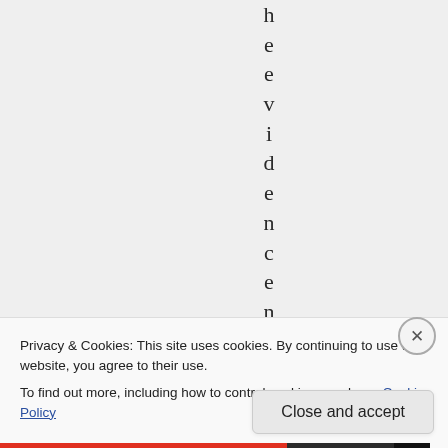h e e v i d e n c e n
Privacy & Cookies: This site uses cookies. By continuing to use this website, you agree to their use.
To find out more, including how to control cookies, see here: Cookie Policy
Close and accept